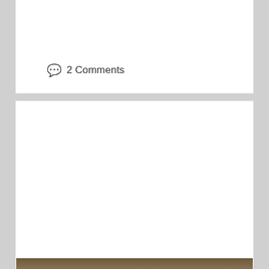💬 2 Comments
[Figure (photo): A baby or young toddler wrapped in a hooded white towel, sitting on a beige/tan carpet floor and looking at the camera. A lamp and dark object visible in background.]
teething